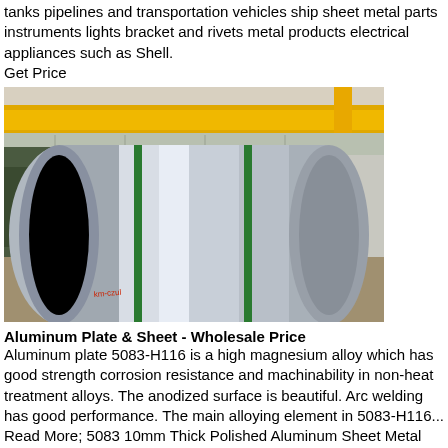tanks pipelines and transportation vehicles ship sheet metal parts instruments lights bracket and rivets metal products electrical appliances such as Shell.
Get Price
[Figure (photo): Large shiny aluminum coil/roll sitting on wooden pallet in an industrial warehouse with yellow overhead crane in background and green strapping bands around the coil.]
Aluminum Plate & Sheet - Wholesale Price
Aluminum plate 5083-H116 is a high magnesium alloy which has good strength corrosion resistance and machinability in non-heat treatment alloys. The anodized surface is beautiful. Arc welding has good performance. The main alloying element in 5083-H116... Read More; 5083 10mm Thick Polished Aluminum Sheet Metal Plate
Get Price
[Figure (photo): Partial view of aluminum sheets or plates, golden/brown tones, bottom of page.]